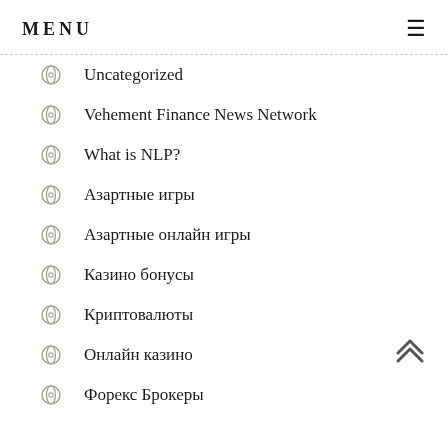MENU
Uncategorized
Vehement Finance News Network
What is NLP?
Азартные игры
Азартные онлайн игры
Казино бонусы
Криптовалюты
Онлайн казино
Форекс Брокеры